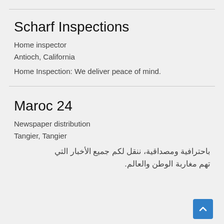Scharf Inspections
Home inspector
Antioch, California
Home Inspection: We deliver peace of mind.
Maroc 24
Newspaper distribution
Tangier, Tangier
باحترافية ومصداقية، ننقل لكم جميع الأخبار التي تهم مغاربة الوطن والعالم.